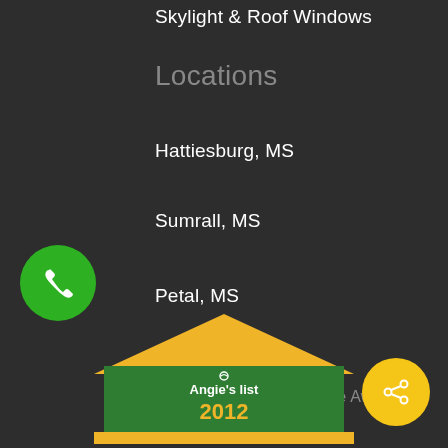Skylight & Roof Windows
Locations
Hattiesburg, MS
Sumrall, MS
Petal, MS
Purvis, MS
Angie's List Super Service Award
[Figure (logo): Angie's List logo badge in green and yellow/gold colors, partially visible at bottom of page]
[Figure (other): Green circular phone call button with white phone icon]
[Figure (other): Yellow circular share button with white share/network icon]